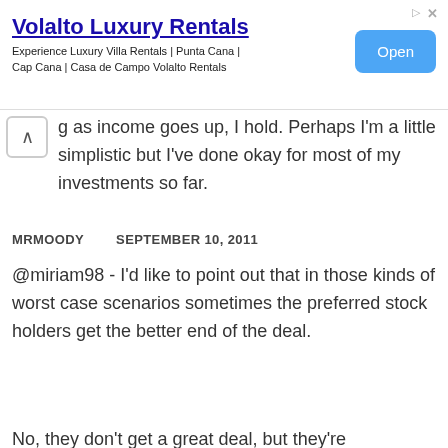[Figure (screenshot): Advertisement banner for Volalto Luxury Rentals with title, subtitle text, and Open button]
g as income goes up, I hold. Perhaps I'm a little simplistic but I've done okay for most of my investments so far.
MRMOODY        SEPTEMBER 10, 2011
@miriam98 - I'd like to point out that in those kinds of worst case scenarios sometimes the preferred stock holders get the better end of the deal.
No, they don't get a great deal, but they're better off than common stock holders. This i...